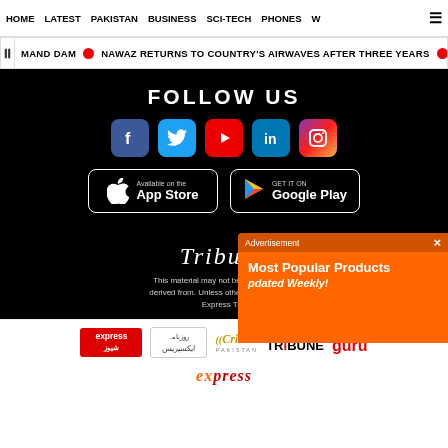HOME  LATEST  PAKISTAN  BUSINESS  SCI-TECH  PHONES  W  ☰
MAND DAM  •  NAWAZ RETURNS TO COUNTRY'S AIRWAVES AFTER THREE YEARS  •
FOLLOW US
[Figure (infographic): Social media icons: Facebook, Twitter, YouTube, LinkedIn, Instagram]
[Figure (infographic): App store buttons: Available on the App Store, Get it on Google Play]
TRIBU...
This material may not be published, br... derived from. Unless otherwise stated, a... Express Tr...
[Figure (infographic): Advertisement overlay: Most Popular Products Updated Weekly! with orange background and product illustrations]
[Figure (logo): Logos bar: express news, ایکسپریس, Cricket Pakistan, TRIBUNE, Campus Guru]
[Figure (logo): express orange italic logo at bottom]